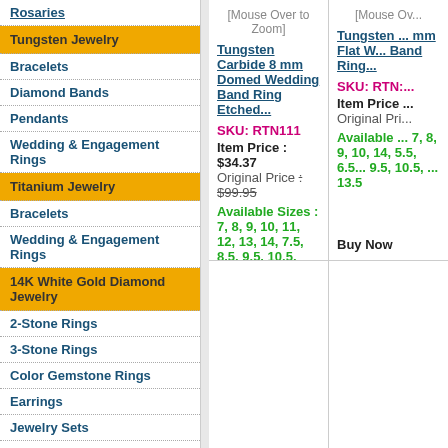Rosaries
Tungsten Jewelry
Bracelets
Diamond Bands
Pendants
Wedding & Engagement Rings
Titanium Jewelry
Bracelets
Wedding & Engagement Rings
14K White Gold Diamond Jewelry
2-Stone Rings
3-Stone Rings
Color Gemstone Rings
Earrings
Jewelry Sets
Necklaces
Pendants
Rings for Men
Rings for Women
Semi-Mount Rings
Wedding & Engagement Sets
14K Yellow Gold Diamond Jewelry
[Mouse Over to Zoom]
[Mouse Ov...
Tungsten Carbide 8 mm Domed Wedding Band Ring Etched...
Tungsten ... mm Flat W... Band Ring...
SKU: RTN111
SKU: RTN:...
Item Price : $34.37
Original Price : $99.95
Available Sizes : 7, 8, 9, 10, 11, 12, 13, 14, 7.5, 8.5, 9.5, 10.5, 11.5, 12.5, 13.5
Available ... 7, 8, 9, 10, 14, 5.5, 6.5... 9.5, 10.5, ... 13.5
Buy Now
Buy Now